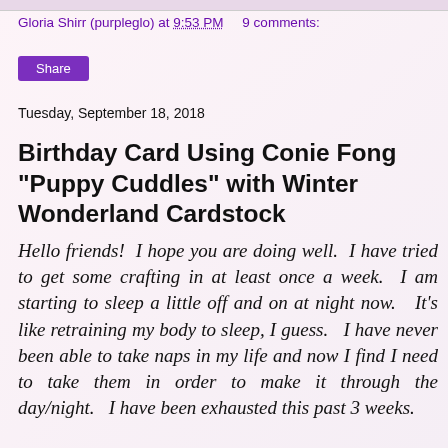Gloria Shirr (purpleglo) at 9:53 PM   9 comments:
Share
Tuesday, September 18, 2018
Birthday Card Using Conie Fong "Puppy Cuddles" with Winter Wonderland Cardstock
Hello friends!  I hope you are doing well.  I have tried to get some crafting in at least once a week.  I am starting to sleep a little off and on at night now.  It's like retraining my body to sleep, I guess.  I have never been able to take naps in my life and now I find I need to take them in order to make it through the day/night.  I have been exhausted this past 3 weeks.